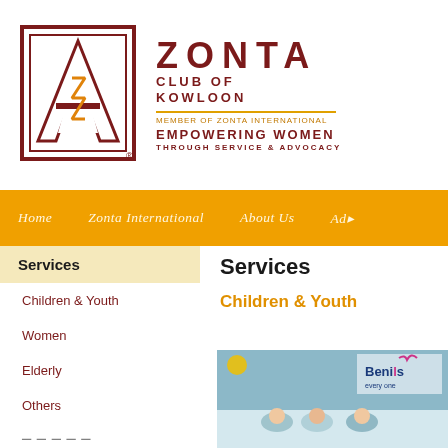[Figure (logo): Zonta Club of Kowloon logo with geometric A-shaped mark in dark red/maroon, text ZONTA CLUB OF KOWLOON, MEMBER OF ZONTA INTERNATIONAL, EMPOWERING WOMEN THROUGH SERVICE & ADVOCACY]
Home   Zonta International   About Us   Ad...
Services
Children & Youth
Women
Elderly
Others
Services
Children & Youth
[Figure (photo): Photo showing people at what appears to be a youth event, with Beni's branding visible in the upper right corner]